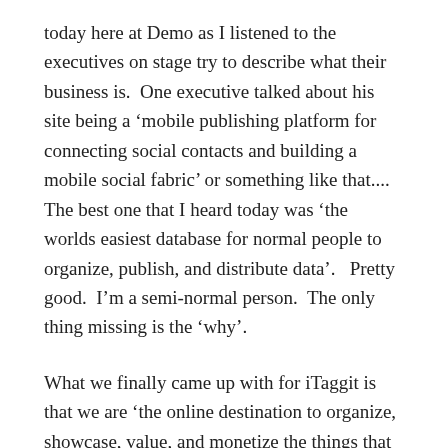today here at Demo as I listened to the executives on stage try to describe what their business is.  One executive talked about his site being a ‘mobile publishing platform for connecting social contacts and building a mobile social fabric’ or something like that....  The best one that I heard today was ‘the worlds easiest database for normal people to organize, publish, and distribute data’.   Pretty good.  I’m a semi-normal person.  The only thing missing is the ‘why’.
What we finally came up with for iTaggit is that we are ‘the online destination to organize, showcase, value, and monetize the things that you are passionate about’.